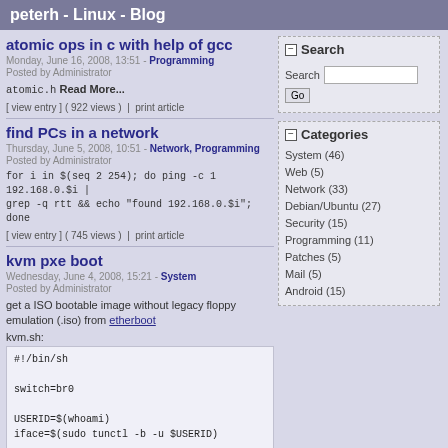peterh - Linux - Blog
atomic ops in c with help of gcc
Monday, June 16, 2008, 13:51 - Programming
Posted by Administrator
atomic.h Read More...
[ view entry ] ( 922 views )  |  print article
find PCs in a network
Thursday, June 5, 2008, 10:51 - Network, Programming
Posted by Administrator
for i in $(seq 2 254); do ping -c 1 192.168.0.$i | grep -q rtt && echo "found 192.168.0.$i"; done
[ view entry ] ( 745 views )  |  print article
kvm pxe boot
Wednesday, June 4, 2008, 15:21 - System
Posted by Administrator
get a ISO bootable image without legacy floppy emulation (.iso) from etherboot
kvm.sh:
#!/bin/sh

switch=br0

USERID=$(whoami)
iface=$(sudo tunctl -b -u $USERID)

sudo /usr/sbin/brctl addbr $switch
Search
Categories
System (46)
Web (5)
Network (33)
Debian/Ubuntu (27)
Security (15)
Programming (11)
Patches (5)
Mail (5)
Android (15)